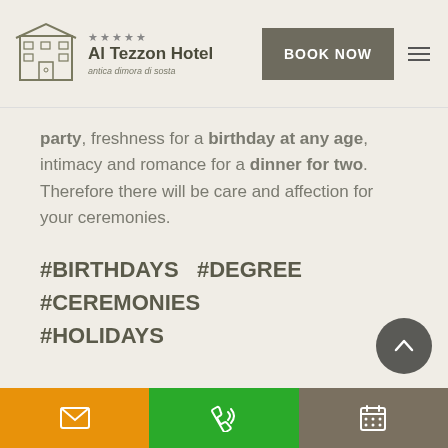Al Tezzon Hotel — antica dimora di sosta | BOOK NOW
party, freshness for a birthday at any age, intimacy and romance for a dinner for two. Therefore there will be care and affection for your ceremonies.
#BIRTHDAYS  #DEGREE  #CEREMONIES  #HOLIDAYS
RISTORANTE@ALTEZZON.COM
Email | Phone | Calendar